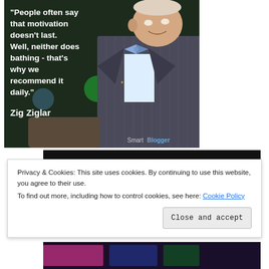[Figure (photo): Motivational quote image with photo of elderly man in pinstripe suit and blue bow tie. Quote reads: 'People often say that motivation doesn't last. Well, neither does bathing - that's why we recommend it daily.' attributed to Zig Ziglar. SmartBlogger watermark visible.]
[Figure (photo): Dark/black banner image partially visible]
Privacy & Cookies: This site uses cookies. By continuing to use this website, you agree to their use.
To find out more, including how to control cookies, see here: Cookie Policy
Close and accept
[Figure (photo): Partially visible colorful image at bottom of page]